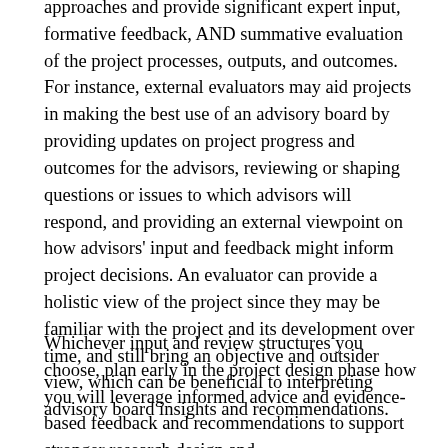approaches and provide significant expert input, formative feedback, AND summative evaluation of the project processes, outputs, and outcomes. For instance, external evaluators may aid projects in making the best use of an advisory board by providing updates on project progress and outcomes for the advisors, reviewing or shaping questions or issues to which advisors will respond, and providing an external viewpoint on how advisors' input and feedback might inform project decisions. An evaluator can provide a holistic view of the project since they may be familiar with the project and its development over time, and still bring an objective and outsider view, which can be beneficial to interpreting advisory board insights and recommendations.
Whichever input and review structures you choose, plan early in the project design phase how you will leverage informed advice and evidence-based feedback and recommendations to support stronger research design and